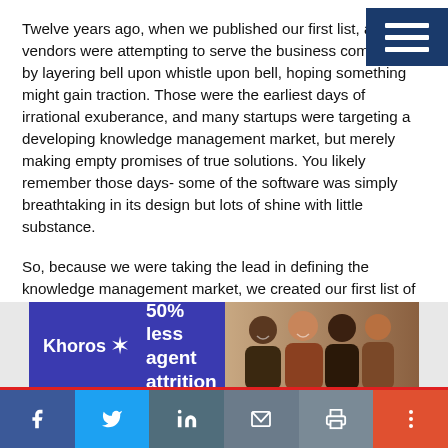Twelve years ago, when we published our first list, a host of vendors were attempting to serve the business community by layering bell upon whistle upon bell, hoping something might gain traction. Those were the earliest days of irrational exuberance, and many startups were targeting a developing knowledge management market, but merely making empty promises of true solutions. You likely remember those days- some of the software was simply breathtaking in its design but lots of shine with little substance.
So, because we were taking the lead in defining the knowledge management market, we created our first list of 100 Companies That Matter. We assembled a team of judges comprised of colleagues, analysts, system integrators, theorists, practitioners and a few select users to identify companies that were providing true solutions to real and
[Figure (other): Khoros advertisement banner: purple/blue background with Khoros logo and wing icon, text '50% less agent attrition', right side shows photo of smiling diverse group of people]
Social sharing bar with Facebook, Twitter, LinkedIn, email, print, and more buttons